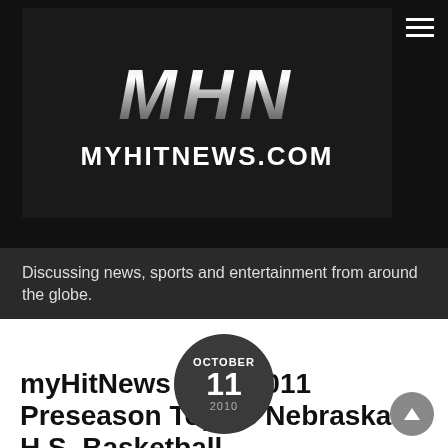[Figure (logo): MHN myHitNews.com logo — dark background with metallic 3D letters MHN and white bold text MYHITNEWS.COM below]
Discussing news, sports and entertainment from around the globe.
OCTOBER 11 2010
myHitNews 2010/2011 Preseason Top 25 Nebraska H.S. Basketball